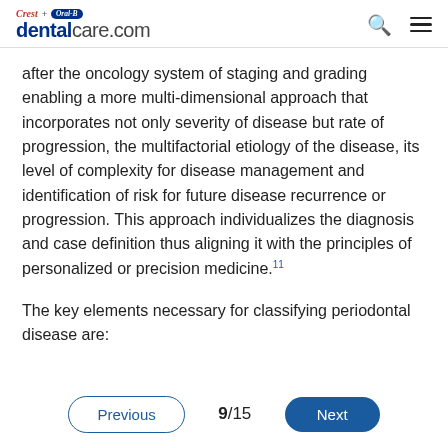Crest + Oral-B dentalcare.com
after the oncology system of staging and grading enabling a more multi-dimensional approach that incorporates not only severity of disease but rate of progression, the multifactorial etiology of the disease, its level of complexity for disease management and identification of risk for future disease recurrence or progression. This approach individualizes the diagnosis and case definition thus aligning it with the principles of personalized or precision medicine.11
The key elements necessary for classifying periodontal disease are:
Previous  9/15  Next